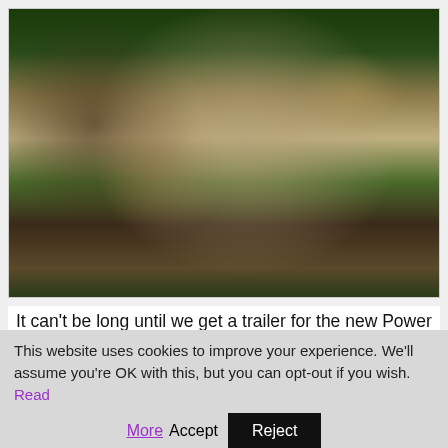[Figure (photo): Photo of Elizabeth Banks as Rita Repulsa from the Power Rangers movie, pressing hands against a shiny metallic/cracked surface with gold claw-tipped fingernails, wearing a green outfit, dramatic villain pose]
It can't be long until we get a trailer for the new Power Rangers movie, but until then we've got a new image featuring Elizabeth Banks as the evil Rita Repula,
This website uses cookies to improve your experience. We'll assume you're OK with this, but you can opt-out if you wish. Read More Accept Reject